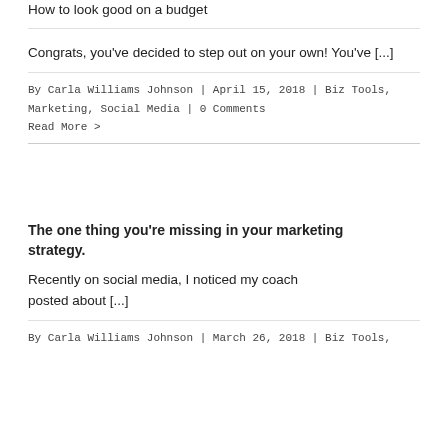Congrats, you've decided to step out on your own! You've [...]
By Carla Williams Johnson | April 15, 2018 | Biz Tools, Marketing, Social Media | 0 Comments
Read More >
The one thing you're missing in your marketing strategy.
Recently on social media, I noticed my coach posted about [...]
By Carla Williams Johnson | March 26, 2018 | Biz Tools,